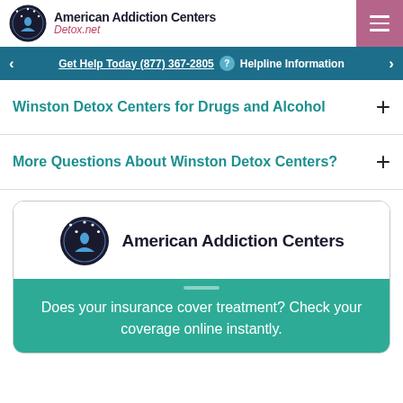American Addiction Centers Detox.net
Get Help Today (877) 367-2805  Helpline Information
Winston Detox Centers for Drugs and Alcohol
More Questions About Winston Detox Centers?
[Figure (logo): American Addiction Centers logo with circular emblem]
Does your insurance cover treatment? Check your coverage online instantly.